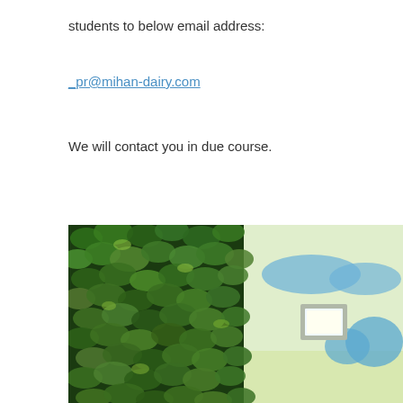students to below email address:
_pr@mihan-dairy.com
We will contact you in due course.
[Figure (photo): Interior photo showing a lush green living plant wall on the left side and a modern white ceiling with blue cloud-like decorative elements and a recessed square light fixture on the right side.]